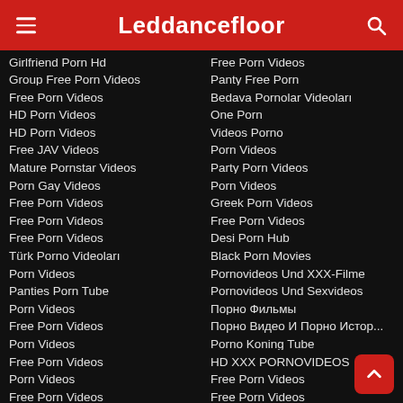Leddancefloor
Girlfriend Porn Hd
Group Free Porn Videos
Free Porn Videos
HD Porn Videos
HD Porn Videos
Free JAV Videos
Mature Pornstar Videos
Porn Gay Videos
Free Porn Videos
Free Porn Videos
Free Porn Videos
Türk Porno Videoları
Porn Videos
Panties Porn Tube
Porn Videos
Free Porn Videos
Porn Videos
Free Porn Videos
Porn Videos
Free Porn Videos
Free Porn Videos
Panty Free Porn
Bedava Pornolar Videoları
One Porn
Videos Porno
Porn Videos
Party Porn Videos
Porn Videos
Greek Porn Videos
Free Porn Videos
Desi Porn Hub
Black Porn Movies
Pornovideos Und XXX-Filme
Pornovideos Und Sexvideos
Порно Фильмы
Порно Видео И Порно Истор...
Porno Koning Tube
HD XXX PORNOVIDEOS
Free Porn Videos
Free Porn Videos
Free Porn Videos
Free Porn Videos